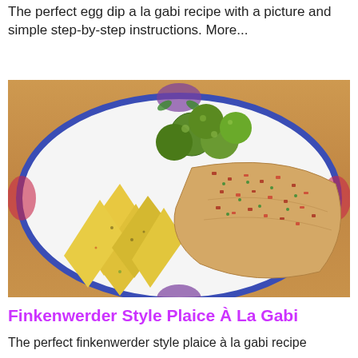The perfect egg dip a la gabi recipe with a picture and simple step-by-step instructions. More...
[Figure (photo): A plate of food on a wooden table. The white plate has a blue and floral pattern on the rim. On the plate are Brussels sprouts, boiled potato wedges, and a piece of fried fish (plaice) topped with diced bacon and herbs.]
Finkenwerder Style Plaice À La Gabi
The perfect finkenwerder style plaice à la gabi recipe